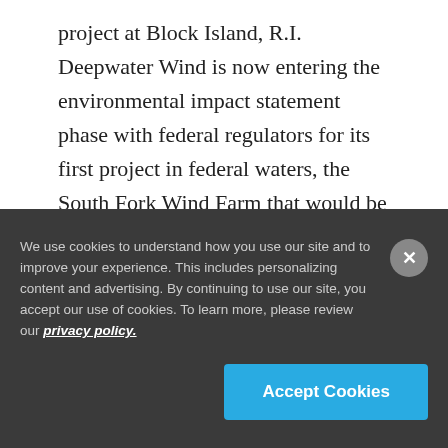project at Block Island, R.I. Deepwater Wind is now entering the environmental impact statement phase with federal regulators for its first project in federal waters, the South Fork Wind Farm that would be built east of Montauk Point, N.Y.
Legal and other details are still being worked out prior to a formal launch of the project, according to the JDR statement.
We use cookies to understand how you use our site and to improve your experience. This includes personalizing content and advertising. By continuing to use our site, you accept our use of cookies. To learn more, please review our privacy policy.